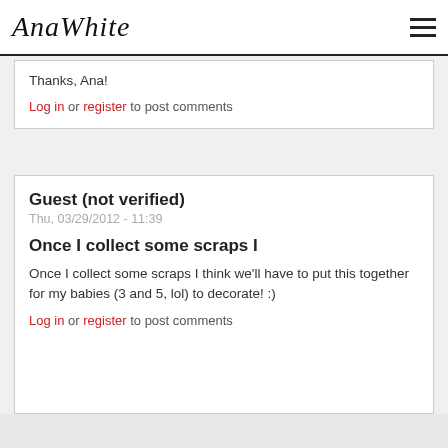AnaWhite
Thanks, Ana!
Log in or register to post comments
Guest (not verified)
Thu, 03/29/2012 - 11:39
Once I collect some scraps I
Once I collect some scraps I think we'll have to put this together for my babies (3 and 5, lol) to decorate! :)
Log in or register to post comments